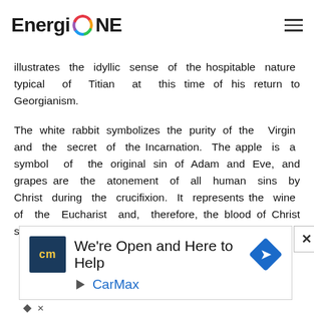EnergiONE
illustrates the idyllic sense of the hospitable nature typical of Titian at this time of his return to Georgianism.
The white rabbit symbolizes the purity of the Virgin and the secret of the Incarnation. The apple is a symbol of the original sin of Adam and Eve, and grapes are the atonement of all human sins by Christ during the crucifixion. It represents the wine of the Eucharist and, therefore, the blood of Christ suffering on the cross.
[Figure (other): CarMax advertisement banner: 'We're Open and Here to Help' with CarMax logo and navigation icon]